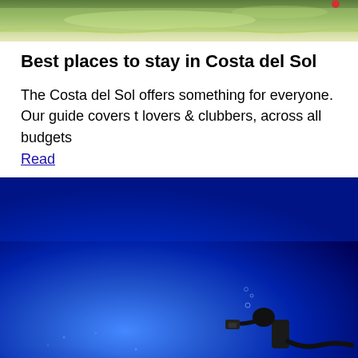[Figure (photo): Top portion of an outdoor scene with water/pool and greenery visible, cropped at the bottom]
Best places to stay in Costa del Sol
The Costa del Sol offers something for everyone. Our guide covers t lovers & clubbers, across all budgets
Read
[Figure (photo): Underwater or night diving scene with deep blue tones, silhouette of a diver with equipment visible at the bottom right]